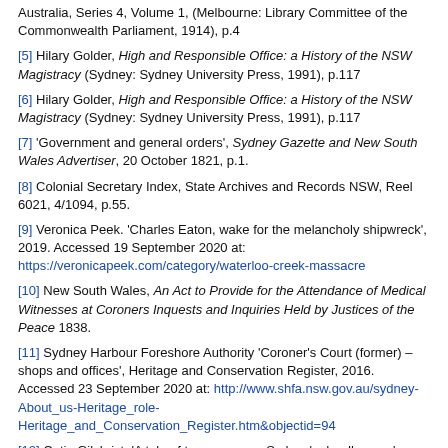Australia, Series 4, Volume 1, (Melbourne: Library Committee of the Commonwealth Parliament, 1914), p.4
[5] Hilary Golder, High and Responsible Office: a History of the NSW Magistracy (Sydney: Sydney University Press, 1991), p.117
[6] Hilary Golder, High and Responsible Office: a History of the NSW Magistracy (Sydney: Sydney University Press, 1991), p.117
[7] 'Government and general orders', Sydney Gazette and New South Wales Advertiser, 20 October 1821, p.1.
[8] Colonial Secretary Index, State Archives and Records NSW, Reel 6021, 4/1094, p.55.
[9] Veronica Peek. 'Charles Eaton, wake for the melancholy shipwreck', 2019. Accessed 19 September 2020 at: https://veronicapeek.com/category/waterloo-creek-massacre
[10] New South Wales, An Act to Provide for the Attendance of Medical Witnesses at Coroners Inquests and Inquiries Held by Justices of the Peace 1838.
[11] Sydney Harbour Foreshore Authority 'Coroner's Court (former) – shops and offices', Heritage and Conservation Register, 2016. Accessed 23 September 2020 at: http://www.shfa.nsw.gov.au/sydney-About_us-Heritage_role-Heritage_and_Conservation_Register.htm&objectid=94
[12] Catie Gilchrist, 'A tale of two morgues: Sydney's deadhouses', History no. 141 (2019), pp. 4–5.
[13] 'Old Sydney', Truth, 26 January 1908, p.9.